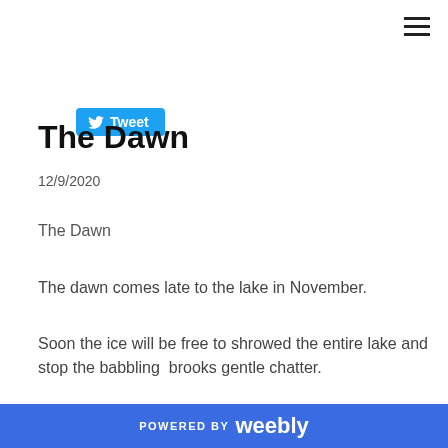hamburger menu icon
[Figure (other): Twitter Tweet button in blue with bird icon]
The Dawn
12/9/2020
The Dawn
The dawn comes late to the lake in November.
Soon the ice will be free to shrowed the entire lake and stop the babbling  brooks gentle chatter.
And the chill will become midday freeze and then  even
POWERED BY weebly